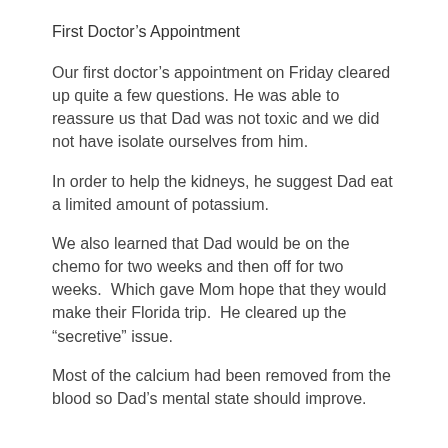First Doctor’s Appointment
Our first doctor’s appointment on Friday cleared up quite a few questions. He was able to reassure us that Dad was not toxic and we did not have isolate ourselves from him.
In order to help the kidneys, he suggest Dad eat a limited amount of potassium.
We also learned that Dad would be on the chemo for two weeks and then off for two weeks.  Which gave Mom hope that they would make their Florida trip.  He cleared up the “secretive” issue.
Most of the calcium had been removed from the blood so Dad’s mental state should improve.